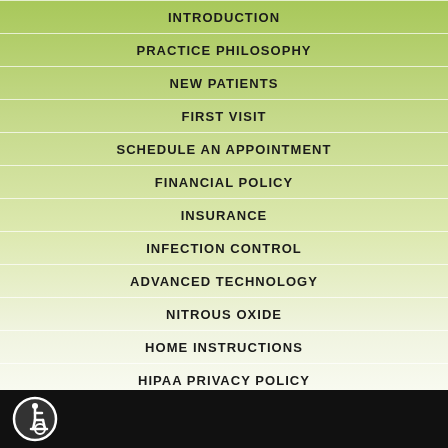INTRODUCTION
PRACTICE PHILOSOPHY
NEW PATIENTS
FIRST VISIT
SCHEDULE AN APPOINTMENT
FINANCIAL POLICY
INSURANCE
INFECTION CONTROL
ADVANCED TECHNOLOGY
NITROUS OXIDE
HOME INSTRUCTIONS
HIPAA PRIVACY POLICY
[Figure (illustration): Wheelchair accessibility icon in a dark circle on black bar at bottom left]